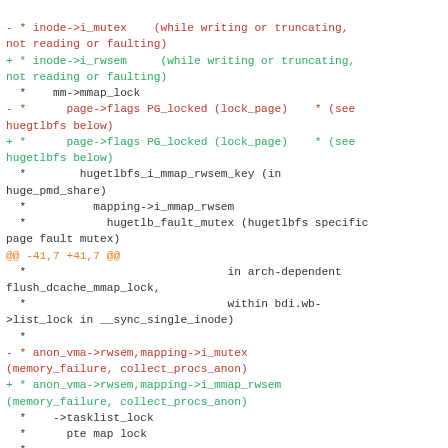Diff/patch code showing changes from i_mutex to i_rwsem and related locking updates in mm/shmem.c